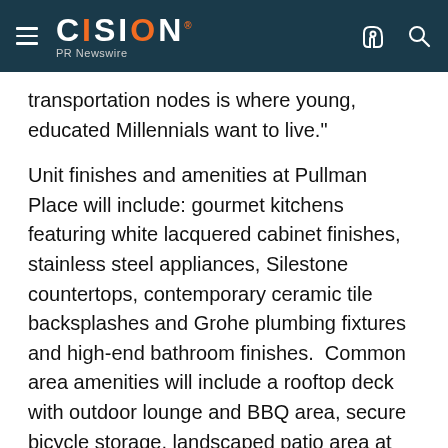CISION PR Newswire
transportation nodes is where young, educated Millennials want to live."
Unit finishes and amenities at Pullman Place will include: gourmet kitchens featuring white lacquered cabinet finishes, stainless steel appliances, Silestone countertops, contemporary ceramic tile backsplashes and Grohe plumbing fixtures and high-end bathroom finishes.  Common area amenities will include a rooftop deck with outdoor lounge and BBQ area, secure bicycle storage, landscaped patio area at the front of building and reserved parking for 14 vehicles.